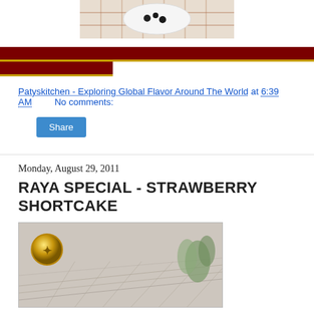[Figure (photo): Top portion of a food photo showing a white plate with dark items on a plaid tablecloth background]
[Figure (infographic): Dark red horizontal divider bar with gold bottom border, and a partial second bar below it]
Patyskitchen - Exploring Global Flavor Around The World at 6:39 AM    No comments:
Share
Monday, August 29, 2011
RAYA SPECIAL - STRAWBERRY SHORTCAKE
[Figure (photo): Photo of a strawberry shortcake on a textured surface with a gold badge/seal in the upper left and a plant in the upper right]